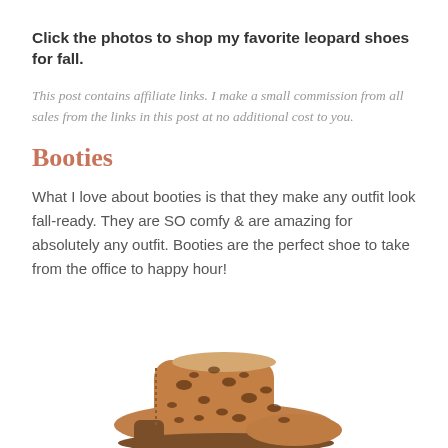Click the photos to shop my favorite leopard shoes for fall.
This post contains affiliate links. I make a small commission from all sales from the links in this post at no additional cost to you.
Booties
What I love about booties is that they make any outfit look fall-ready. They are SO comfy & are amazing for absolutely any outfit. Booties are the perfect shoe to take from the office to happy hour!
[Figure (photo): A leopard print ankle bootie in tan/brown with dark spots, shown from the side, positioned at the bottom center of the page.]